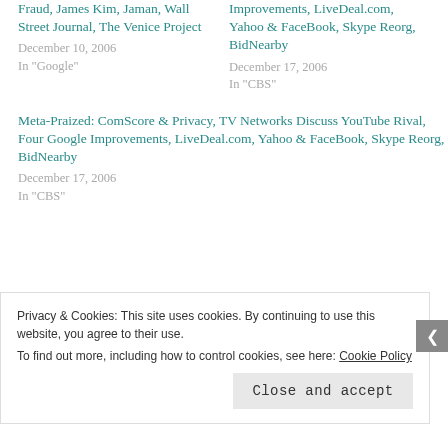Fraud, James Kim, Jaman, Wall Street Journal, The Venice Project
December 10, 2006
In "Google"
Improvements, LiveDeal.com, Yahoo & FaceBook, Skype Reorg, BidNearby
December 17, 2006
In "CBS"
Meta-Praized: ComScore & Privacy, TV Networks Discuss YouTube Rival, Four Google Improvements, LiveDeal.com, Yahoo & FaceBook, Skype Reorg, BidNearby
December 17, 2006
In "CBS"
Privacy & Cookies: This site uses cookies. By continuing to use this website, you agree to their use.
To find out more, including how to control cookies, see here: Cookie Policy
Close and accept